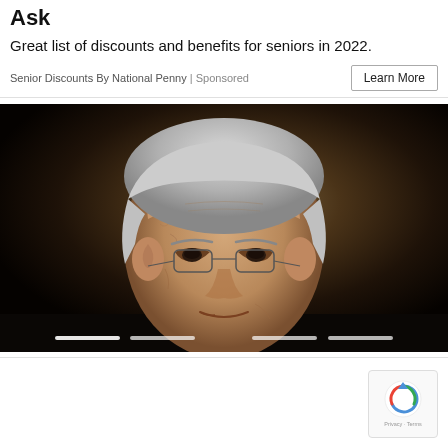Ask
Great list of discounts and benefits for seniors in 2022.
Senior Discounts By National Penny | Sponsored
[Figure (photo): Portrait photo of an elderly man with white hair and rimless glasses, wearing a dark jacket, looking slightly downward with a slight smile, against a dark brown background. Slider navigation dots visible at bottom.]
[Figure (other): reCAPTCHA badge widget in bottom right corner, showing circular arrow icon and 'Privacy · Terms' text]